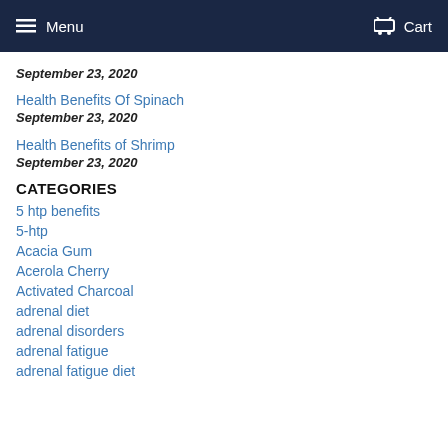Menu   Cart
September 23, 2020
Health Benefits Of Spinach
September 23, 2020
Health Benefits of Shrimp
September 23, 2020
CATEGORIES
5 htp benefits
5-htp
Acacia Gum
Acerola Cherry
Activated Charcoal
adrenal diet
adrenal disorders
adrenal fatigue
adrenal fatigue diet